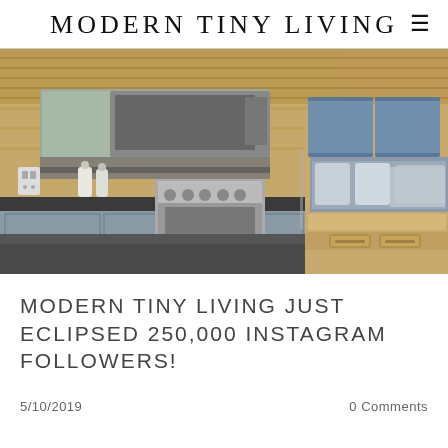MODERN TINY LIVING
[Figure (photo): Interior of a modern tiny house showing a kitchen with gray cabinets, dark countertop, stainless steel range and microwave, wood-paneled walls, and a living area with built-in wooden steps and seating with gray cushions and pillows in the background.]
MODERN TINY LIVING JUST ECLIPSED 250,000 INSTAGRAM FOLLOWERS!
5/10/2019
0 Comments